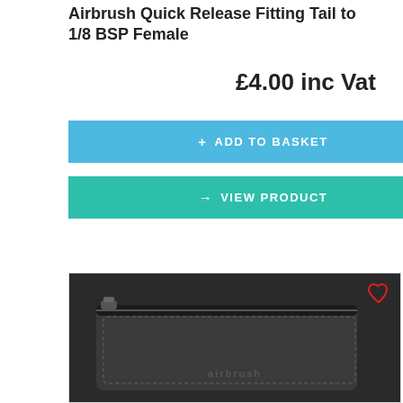Airbrush Quick Release Fitting Tail to 1/8 BSP Female
£4.00 inc Vat
+ ADD TO BASKET
→ VIEW PRODUCT
[Figure (photo): Black leather zippered wallet/pouch with embossed branding, photographed on white background. Heart/wishlist icon in red at top right corner of image.]